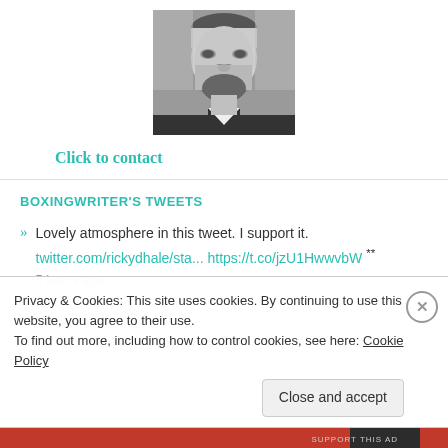[Figure (photo): Black and white profile photo of a bearded man in a suit]
Click to contact
BOXINGWRITER'S TWEETS
» Lovely atmosphere in this tweet. I support it. twitter.com/rickydhale/sta... https://t.co/jzU1HwwvbW ** 5 hours ago
Privacy & Cookies: This site uses cookies. By continuing to use this website, you agree to their use.
To find out more, including how to control cookies, see here: Cookie Policy
Close and accept